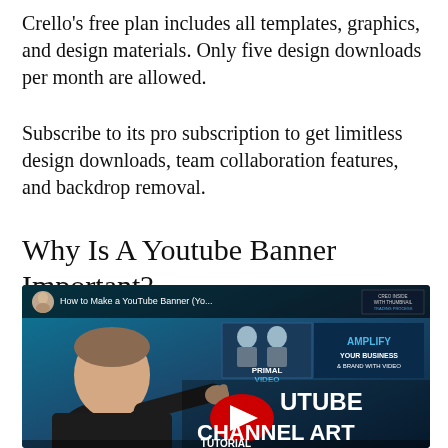Crello's free plan includes all templates, graphics, and design materials. Only five design downloads per month are allowed.
Subscribe to its pro subscription to get limitless design downloads, team collaboration features, and backdrop removal.
Why Is A Youtube Banner Important?
[Figure (screenshot): YouTube video thumbnail showing a man pointing at text that reads 'How to Make a YouTube Banner (Yo...' with branding showing 'PRIMAL VIDEO', 'AMPLIFY YOUR BUSINESS & BRAND WITH VIDEO', and large text 'YOUTUBE CHANNEL ART']